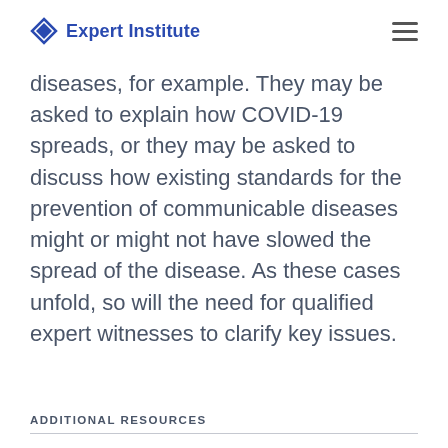Expert Institute
diseases, for example. They may be asked to explain how COVID-19 spreads, or they may be asked to discuss how existing standards for the prevention of communicable diseases might or might not have slowed the spread of the disease. As these cases unfold, so will the need for qualified expert witnesses to clarify key issues.
ADDITIONAL RESOURCES